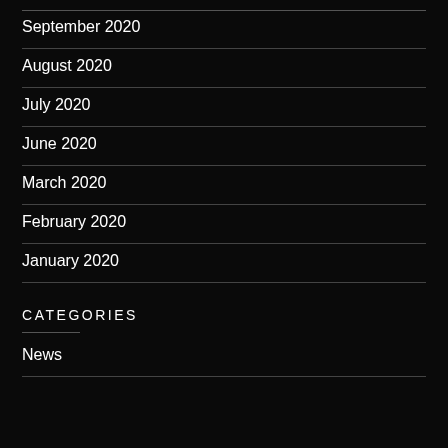September 2020
August 2020
July 2020
June 2020
March 2020
February 2020
January 2020
CATEGORIES
News